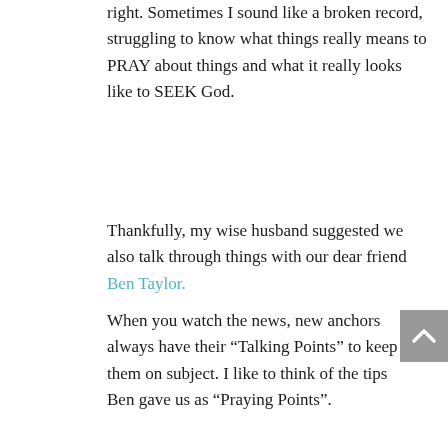right. Sometimes I sound like a broken record, struggling to know what things really means to PRAY about things and what it really looks like to SEEK God.
Thankfully, my wise husband suggested we also talk through things with our dear friend Ben Taylor.
When you watch the news, new anchors always have their “Talking Points” to keep them on subject. I like to think of the tips Ben gave us as “Praying Points”.
1- Make our case to God. Appeal to him with our concerns and requests. We see many examples of this in the Old Testament through people like Moses, Abraham. They made appeals to God on behalf of themselves and others.
2- Ask God to set our hearts according to his will.